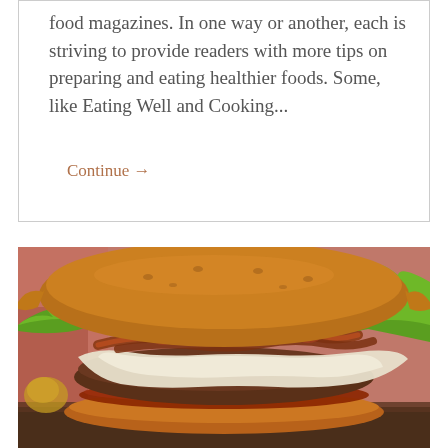food magazines. In one way or another, each is striving to provide readers with more tips on preparing and eating healthier foods. Some, like Eating Well and Cooking...
Continue →
[Figure (photo): Close-up photograph of a gourmet cheeseburger with melted white cheese, bacon strips, green leafy lettuce, and a pretzel bun, sitting on a wooden surface with a blurred red background.]